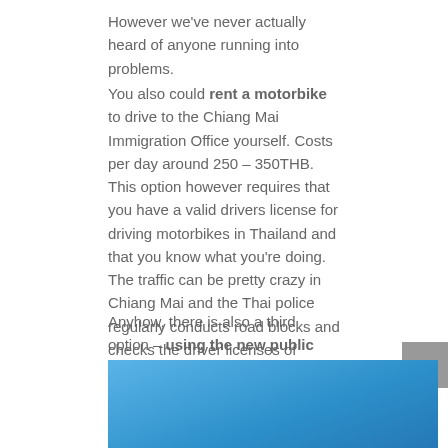However we've never actually heard of anyone running into problems.
You also could rent a motorbike to drive to the Chiang Mai Immigration Office yourself. Costs per day around 250 – 350THB. This option however requires that you have a valid drivers license for driving motorbikes in Thailand and that you know what you're doing. The traffic can be pretty crazy in Chiang Mai and the Thai police regularly conducts road blocks and checks the driver licenses of passing motor cyclists.
Anyhow, there is also a third option – using the new public city busses! We've seen these modern busses so had to give it a try and can absolutely recommend it! CHEAP & EASY!
[Figure (photo): Blue sky or background image, partially visible at bottom of page]